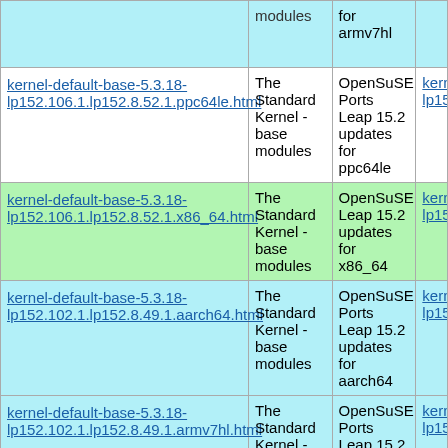| Package | Description | Update | Link |
| --- | --- | --- | --- |
| kernel-default-base-5.3.18-lp152.106.1.lp152.8.52.1.ppc64le.html | The Standard Kernel - base modules | OpenSuSE Ports Leap 15.2 updates for ppc64le | kernel-lp152... |
| kernel-default-base-5.3.18-lp152.106.1.lp152.8.52.1.x86_64.html | The Standard Kernel - base modules | OpenSuSE Leap 15.2 updates for x86_64 | kernel-lp152... |
| kernel-default-base-5.3.18-lp152.102.1.lp152.8.49.1.aarch64.html | The Standard Kernel - base modules | OpenSuSE Ports Leap 15.2 updates for aarch64 | kernel-lp152... |
| kernel-default-base-5.3.18-lp152.102.1.lp152.8.49.1.armv7hl.html | The Standard Kernel - base modules | OpenSuSE Ports Leap 15.2 updates for armv7hl | kernel-lp152... |